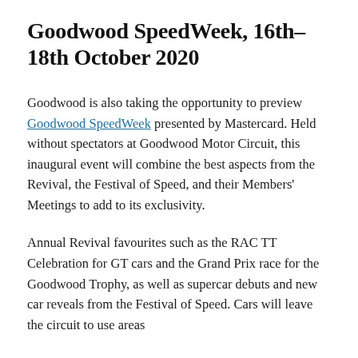Goodwood SpeedWeek, 16th–18th October 2020
Goodwood is also taking the opportunity to preview Goodwood SpeedWeek presented by Mastercard. Held without spectators at Goodwood Motor Circuit, this inaugural event will combine the best aspects from the Revival, the Festival of Speed, and their Members' Meetings to add to its exclusivity.
Annual Revival favourites such as the RAC TT Celebration for GT cars and the Grand Prix race for the Goodwood Trophy, as well as supercar debuts and new car reveals from the Festival of Speed. Cars will leave the circuit to use areas